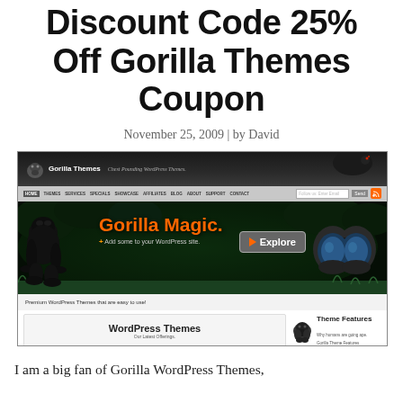Discount Code 25% Off Gorilla Themes Coupon
November 25, 2009 | by David
[Figure (screenshot): Screenshot of the Gorilla Themes website showing the header with logo, navigation bar, a hero banner reading 'Gorilla Magic. + Add some to your WordPress site.' with an Explore button, and the body showing WordPress Themes and Theme Features sections.]
I am a big fan of Gorilla WordPress Themes,